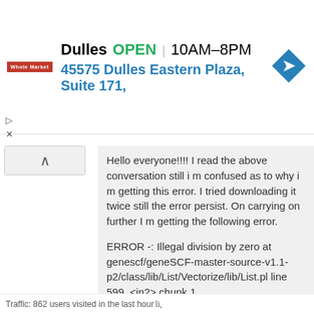[Figure (other): Advertisement banner for Dulles store showing store name, OPEN status, hours 10AM-8PM, address 45575 Dulles Eastern Plaza Suite 171, Whole Market logo, and navigation arrow icon]
Hello everyone!!!! I read the above conversation still i m confused as to why i m getting this error. I tried downloading it twice still the error persist. On carrying on further I m getting the following error.
ERROR -: Illegal division by zero at genescf/geneSCF-master-source-v1.1-p2/class/lib/List/Vectorize/lib/List.pl line 599, <in2> chunk 1.
Please guide me.
ADD REPLY • link
4.5 years ago by me.sr1510 • 0
Traffic: 862 users visited in the last hour li,